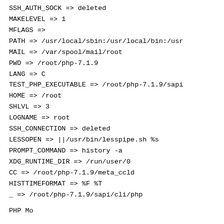SSH_AUTH_SOCK => deleted
MAKELEVEL => 1
MFLAGS =>
PATH => /usr/local/sbin:/usr/local/bin:/usr
MAIL => /var/spool/mail/root
PWD => /root/php-7.1.9
LANG => C
TEST_PHP_EXECUTABLE => /root/php-7.1.9/sapi
HOME => /root
SHLVL => 3
LOGNAME => root
SSH_CONNECTION => deleted
LESSOPEN => ||/usr/bin/lesspipe.sh %s
PROMPT_COMMAND => history -a
XDG_RUNTIME_DIR => /run/user/0
CC => /root/php-7.1.9/meta_ccld
HISTTIMEFORMAT => %F %T
_ => /root/php-7.1.9/sapi/cli/php
PHP Modules